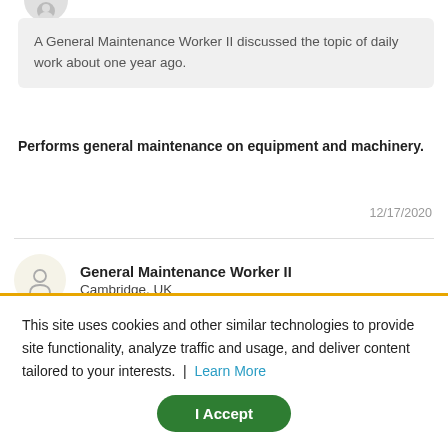[Figure (illustration): Partial circular avatar icon at top of page, grey background]
A General Maintenance Worker II discussed the topic of daily work about one year ago.
Performs general maintenance on equipment and machinery.
12/17/2020
[Figure (illustration): Circular avatar icon with person silhouette on cream/beige background]
General Maintenance Worker II
Cambridge, UK
A General Maintenance Worker II discussed the topic of daily work about one year ago.
ations.
3/13/2021
This site uses cookies and other similar technologies to provide site functionality, analyze traffic and usage, and deliver content tailored to your interests. | Learn More
I Accept